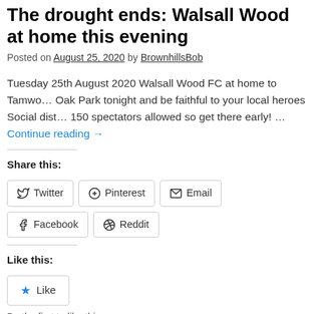The drought ends: Walsall Wood at home this evening
Posted on August 25, 2020 by BrownhillsBob
Tuesday 25th August 2020 Walsall Wood FC at home to Tamwo… Oak Park tonight and be faithful to your local heroes Social dist… 150 spectators allowed so get there early! … Continue reading →
Share this:
Twitter | Pinterest | Email | Facebook | Reddit
Like this:
Like — Be the first to like this.
Posted in Brownhills stuff, Environment, Events, Followups, Fun stuff to see a… enquiries, Shared media, Social Media, Walsall community, Walsall Wood stu… Events, FA Vase, FC, football, Footy, Good of the Wood, Saturday, soccer, St… WOod FC | Leave a comment